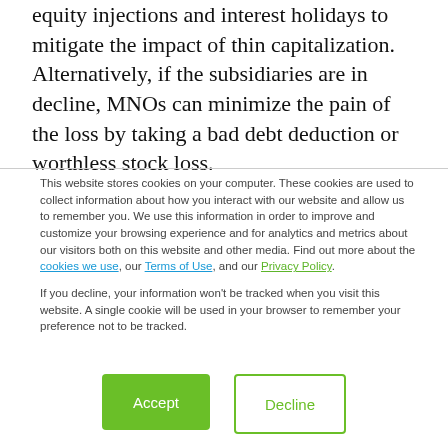equity injections and interest holidays to mitigate the impact of thin capitalization. Alternatively, if the subsidiaries are in decline, MNOs can minimize the pain of the loss by taking a bad debt deduction or worthless stock loss.
This website stores cookies on your computer. These cookies are used to collect information about how you interact with our website and allow us to remember you. We use this information in order to improve and customize your browsing experience and for analytics and metrics about our visitors both on this website and other media. Find out more about the cookies we use, our Terms of Use, and our Privacy Policy.

If you decline, your information won't be tracked when you visit this website. A single cookie will be used in your browser to remember your preference not to be tracked.